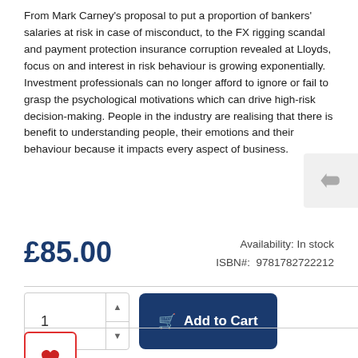From Mark Carney's proposal to put a proportion of bankers' salaries at risk in case of misconduct, to the FX rigging scandal and payment protection insurance corruption revealed at Lloyds, focus on and interest in risk behaviour is growing exponentially. Investment professionals can no longer afford to ignore or fail to grasp the psychological motivations which can drive high-risk decision-making. People in the industry are realising that there is benefit to understanding people, their emotions and their behaviour because it impacts every aspect of business.
£85.00
Availability: In stock
ISBN#: 9781782722212